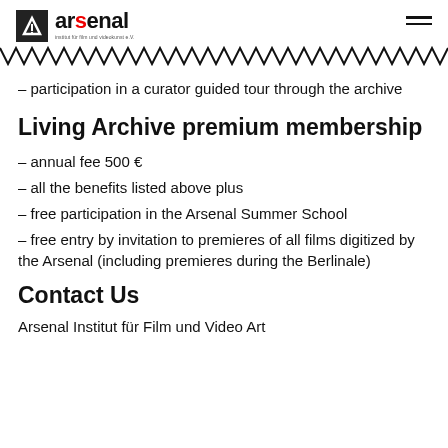arsenal — institut für film und videokunst e.V.
– participation in a curator guided tour through the archive
Living Archive premium membership
– annual fee 500 €
– all the benefits listed above plus
– free participation in the Arsenal Summer School
– free entry by invitation to premieres of all films digitized by the Arsenal (including premieres during the Berlinale)
Contact Us
Arsenal Institut für Film und Video Art